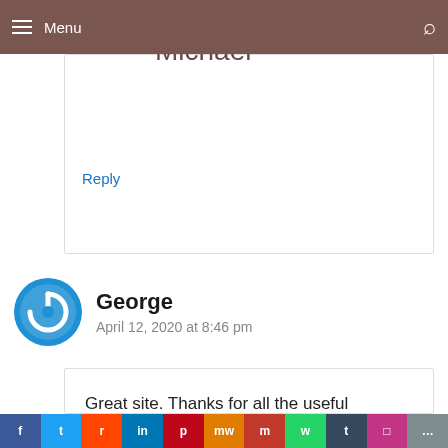Menu
Thank you, Michael
Reply
George
April 12, 2020 at 8:46 pm
Great site. Thanks for all the useful information.
Reply
f  t  r  in  P  mW  m  w  t  Instagram  ...